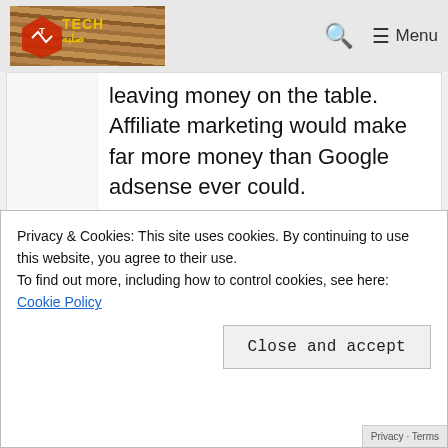Tech [logo] — Search | ☰ Menu
leaving money on the table. Affiliate marketing would make far more money than Google adsense ever could.
Reply
Privacy & Cookies: This site uses cookies. By continuing to use this website, you agree to their use.
To find out more, including how to control cookies, see here:
Cookie Policy
Close and accept
I am not yet into affiliate marketing and donation kind of scheme. But